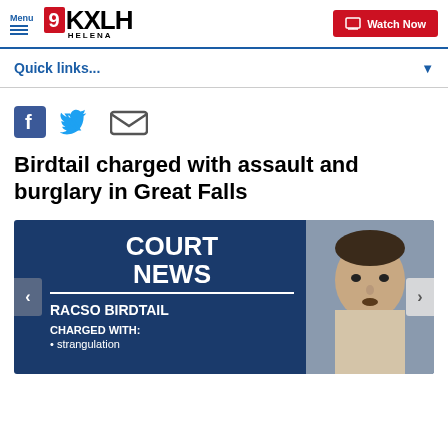Menu | 9KXLH HELENA | Watch Now
Quick links...
[Figure (screenshot): Social share icons: Facebook, Twitter, Email]
Birdtail charged with assault and burglary in Great Falls
[Figure (photo): Court News graphic with mugshot of Racso Birdtail. Text reads: COURT NEWS, RACSO BIRDTAIL, CHARGED WITH: strangulation]